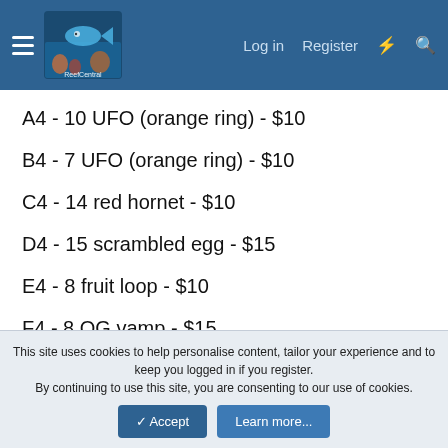Reef Central — Log in | Register
A4 - 10 UFO (orange ring) - $10
B4 - 7 UFO (orange ring) - $10
C4 - 14 red hornet - $10
D4 - 15 scrambled egg - $15
E4 - 8 fruit loop - $10
F4 - 8 OG vamp - $15
This site uses cookies to help personalise content, tailor your experience and to keep you logged in if you register. By continuing to use this site, you are consenting to our use of cookies.